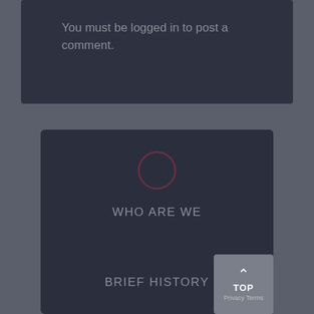You must be logged in to post a comment.
WHO ARE WE
BRIEF HISTORY
WHAT IS A COLOSTOMY?
[Figure (illustration): Circular icon outline above navigation menu]
TOP